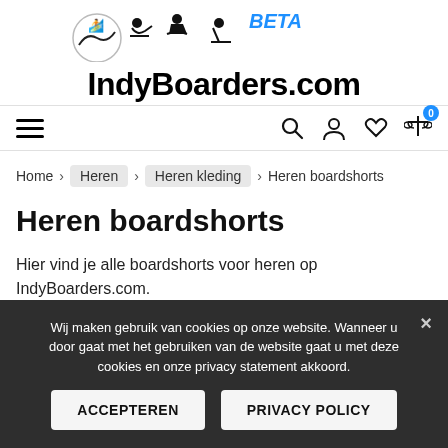[Figure (logo): IndyBoarders.com logo with sport silhouette icons (surfing, snowboarding, wakeboarding, skiing) and BETA badge]
[Figure (infographic): Navigation bar with hamburger menu icon on left and search, account, wishlist, compare (badge: 0) icons on right]
Home > Heren > Heren kleding > Heren boardshorts
Heren boardshorts
Hier vind je alle boardshorts voor heren op IndyBoarders.com.
Wij maken gebruik van cookies op onze website. Wanneer u door gaat met het gebruiken van de website gaat u met deze cookies en onze privacy statement akkoord.
Default sorting